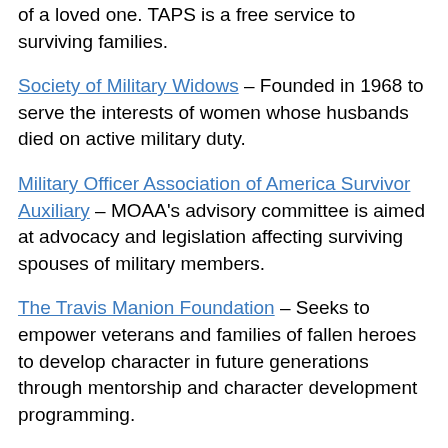of a loved one. TAPS is a free service to surviving families.
Society of Military Widows – Founded in 1968 to serve the interests of women whose husbands died on active military duty.
Military Officer Association of America Survivor Auxiliary – MOAA's advisory committee is aimed at advocacy and legislation affecting surviving spouses of military members.
The Travis Manion Foundation – Seeks to empower veterans and families of fallen heroes to develop character in future generations through mentorship and character development programming.
Other organizations include Gold Star Mothers, Gold